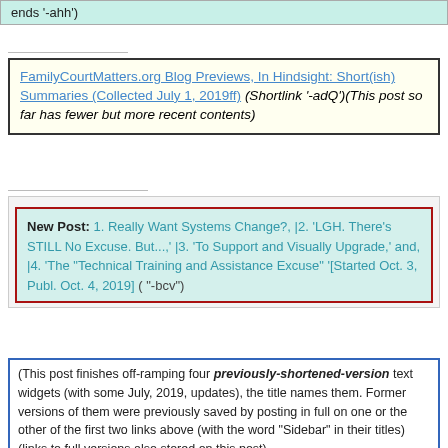ends '-ahh')
FamilyCourtMatters.org Blog Previews, In Hindsight: Short(ish) Summaries (Collected July 1, 2019ff) (Shortlink '-adQ')(This post so far has fewer but more recent contents)
New Post: 1. Really Want Systems Change?, |2. 'LGH. There's STILL No Excuse. But...,' |3. 'To Support and Visually Upgrade,' and, |4. 'The "Technical Training and Assistance Excuse" '[Started Oct. 3, Publ. Oct. 4, 2019] ( "-bcv")
(This post finishes off-ramping four previously-shortened-version text widgets (with some July, 2019, updates), the title names them. Former versions of them were previously saved by posting in full on one or the other of the first two links above (with the word "Sidebar" in their titles) (links to full versions also stored on this post).
THIS POST ALSO holds my narrative lead-in and footnotes around 'BMTP' (Battered Mothers Testimony Project){{=pdf of its Final Rept 2002}} at